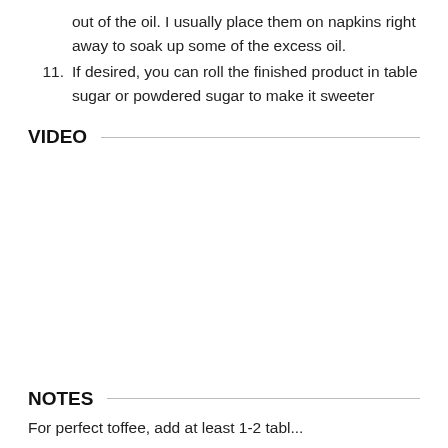out of the oil. I usually place them on napkins right away to soak up some of the excess oil.
11. If desired, you can roll the finished product in table sugar or powdered sugar to make it sweeter
VIDEO
NOTES
For perfect toffee, add at least 1-2 tablespoons...